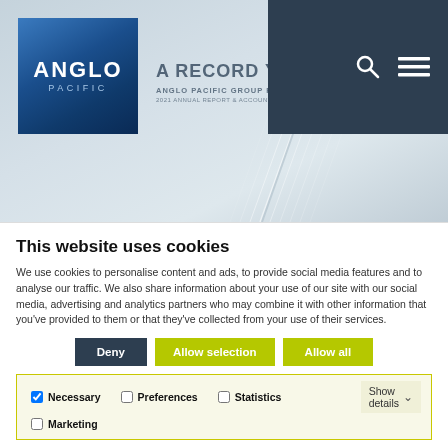[Figure (screenshot): Anglo Pacific Group PLC annual report cover page screenshot with logo, navigation bar, and a 'A Record Year' cover image showing abstract architectural lines]
This website uses cookies
We use cookies to personalise content and ads, to provide social media features and to analyse our traffic. We also share information about your use of our site with our social media, advertising and analytics partners who may combine it with other information that you've provided to them or that they've collected from your use of their services.
Deny | Allow selection | Allow all
Necessary  Preferences  Statistics  Marketing  Show details